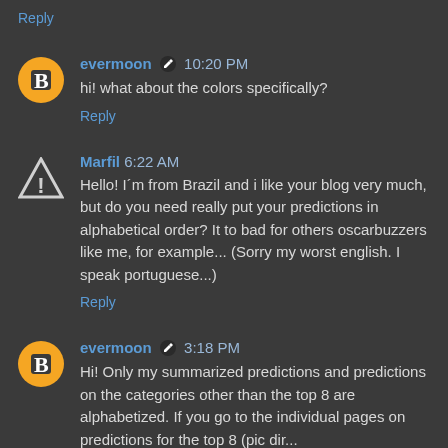Reply
evermoon ✏ 10:20 PM
hi! what about the colors specifically?
Reply
Marfil 6:22 AM
Hello! I´m from Brazil and i like your blog very much, but do you need really put your predictions in alphabetical order? It to bad for others oscarbuzzers like me, for example... (Sorry my worst english. I speak portuguese...)
Reply
evermoon ✏ 3:18 PM
Hi! Only my summarized predictions and predictions on the categories other than the top 8 are alphabetized. If you go to the individual pages on predictions for the top 8 (pic dir...